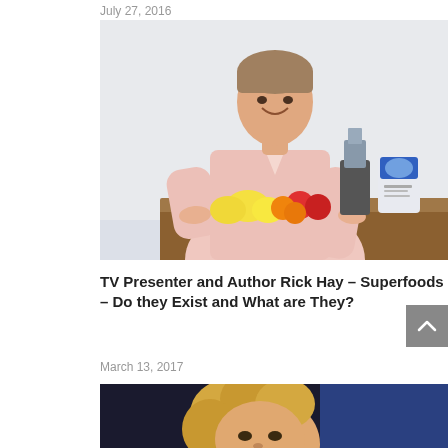July 27, 2016
[Figure (photo): Man in pink shirt standing behind a wooden table with fruits (lemons, apples, oranges), a blender, and a bag of superfood powder, smiling at camera, against a white background.]
TV Presenter and Author Rick Hay – Superfoods – Do they Exist and What are They?
March 13, 2017
[Figure (photo): Partial photo of a woman with curly blonde hair, cropped at the bottom of the page.]